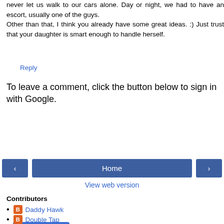never let us walk to our cars alone. Day or night, we had to have an escort, usually one of the guys. Other than that, I think you already have some great ideas. :) Just trust that your daughter is smart enough to handle herself.
Reply
To leave a comment, click the button below to sign in with Google.
[Figure (other): SIGN IN WITH GOOGLE button (blue rounded rectangle)]
[Figure (other): Navigation bar with left arrow button, Home button, and right arrow button]
View web version
Contributors
Daddy Hawk
Double Tap